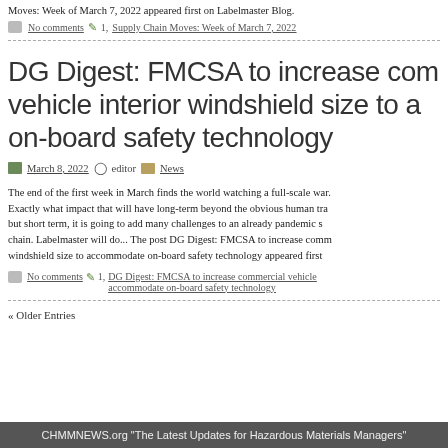Moves: Week of March 7, 2022 appeared first on Labelmaster Blog.
No comments  1,  Supply Chain Moves: Week of March 7, 2022
DG Digest: FMCSA to increase commercial vehicle interior windshield size to accommodate on-board safety technology
March 8, 2022  editor  News
The end of the first week in March finds the world watching a full-scale war... Exactly what impact that will have long-term beyond the obvious human tragedy, but short term, it is going to add many challenges to an already pandemic strained supply chain. Labelmaster will do... The post DG Digest: FMCSA to increase commercial vehicle interior windshield size to accommodate on-board safety technology appeared first...
No comments  1,  DG Digest: FMCSA to increase commercial vehicle interior windshield size to accommodate on-board safety technology
« Older Entries
CHMMNEWS.org "The Latest Updates for Hazardous Materials Managers"